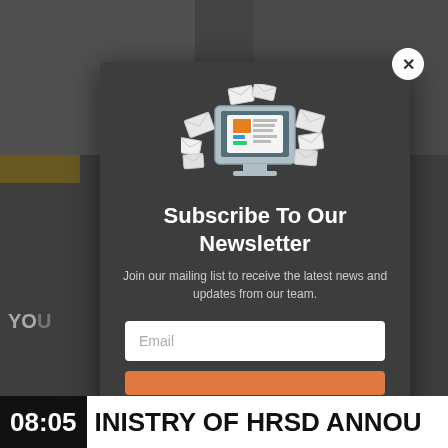[Figure (screenshot): Background website page showing two people in top half, partially obscured by dark overlay and newsletter modal popup]
Subscribe To Our Newsletter
Join our mailing list to receive the latest news and updates from our team.
Email
08:05  INISTRY OF HRSD ANNOU...